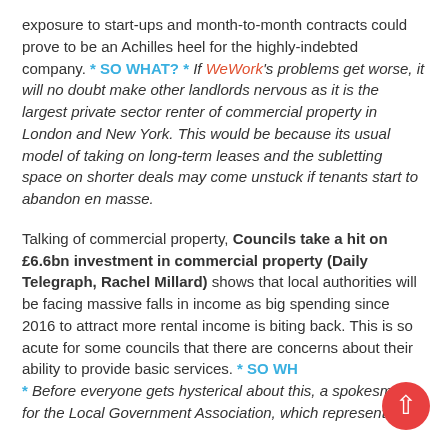exposure to start-ups and month-to-month contracts could prove to be an Achilles heel for the highly-indebted company. * SO WHAT? * If WeWork's problems get worse, it will no doubt make other landlords nervous as it is the largest private sector renter of commercial property in London and New York. This would be because its usual model of taking on long-term leases and the subletting space on shorter deals may come unstuck if tenants start to abandon en masse.
Talking of commercial property, Councils take a hit on £6.6bn investment in commercial property (Daily Telegraph, Rachel Millard) shows that local authorities will be facing massive falls in income as big spending since 2016 to attract more rental income is biting back. This is so acute for some councils that there are concerns about their ability to provide basic services. * SO WHAT? * Before everyone gets hysterical about this, a spokesman for the Local Government Association, which represents